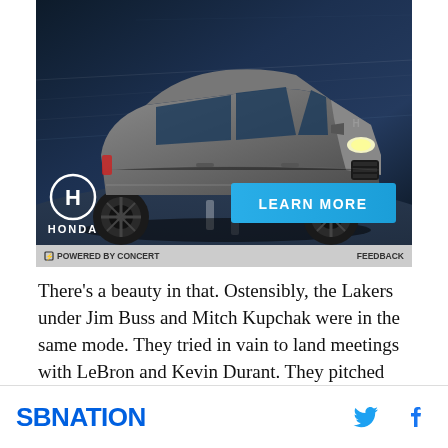[Figure (photo): Honda SUV advertisement showing a dark gray Honda CR-V on a highway at night with motion blur background, Honda logo and LEARN MORE button in cyan/blue]
⚡ POWERED BY CONCERT    FEEDBACK
There's a beauty in that. Ostensibly, the Lakers under Jim Buss and Mitch Kupchak were in the same mode. They tried in vain to land meetings with LeBron and Kevin Durant. They pitched LaMarcus Aldridge and
[Figure (logo): SBNation logo in blue, with Twitter and Facebook social icons on the right]